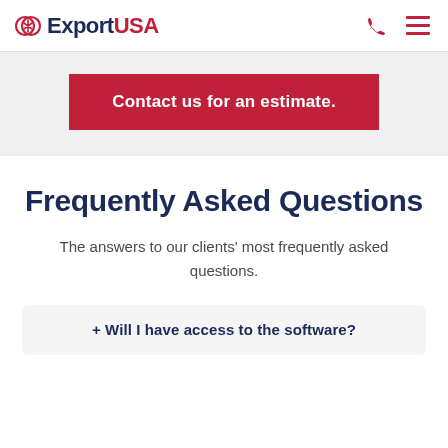ExportUSA
Contact us for an estimate.
Frequently Asked Questions
The answers to our clients' most frequently asked questions.
+ Will I have access to the software?